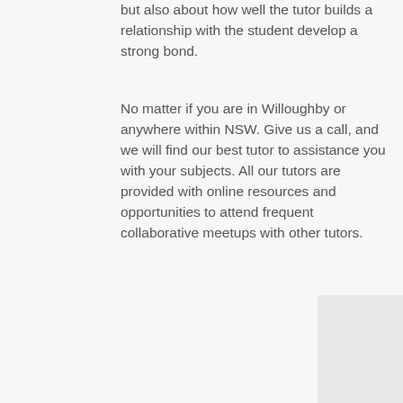but also about how well the tutor builds a relationship with the student develop a strong bond.
No matter if you are in Willoughby or anywhere within NSW. Give us a call, and we will find our best tutor to assistance you with your subjects. All our tutors are provided with online resources and opportunities to attend frequent collaborative meetups with other tutors.
[Figure (other): A partially visible light grey rounded rectangle box element in the bottom-right corner of the page.]